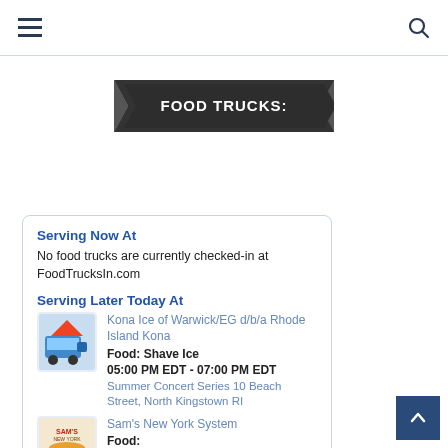Navigation bar with hamburger menu and search icon
FOOD TRUCKS:
Serving Now At
No food trucks are currently checked-in at FoodTrucksIn.com
Serving Later Today At
Kona Ice of Warwick/EG d/b/a Rhode Island Kona
Food: Shave Ice
05:00 PM EDT - 07:00 PM EDT
Summer Concert Series 10 Beach Street, North Kingstown RI
Sam's New York System
Food: